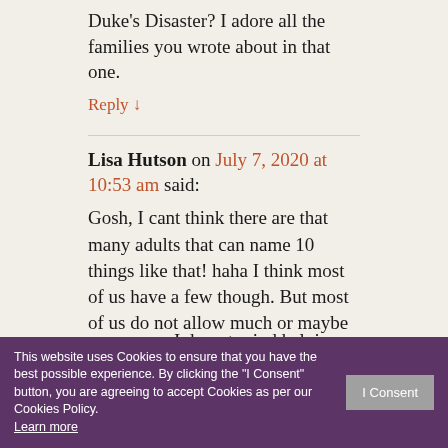Duke's Disaster? I adore all the families you wrote about in that one.
Reply ↓
Lisa Hutson on July 7, 2020 at 10:53 am said:
Gosh, I cant think there are that many adults that can name 10 things like that! haha I think most of us have a few though. But most of us do not allow much or maybe even any time for those few things! You know what I realized a couple years ago? When my children became grown ups and it was mostly an empty nest here, I realized that I had more free time. But I found myself feeling like I should do something with that time. Then there was a thing, I realized that … and … get me wrong. I do not mind helping anyone! But I kept
This website uses Cookies to ensure that you have the best possible experience. By clicking the "I Consent" button, you are agreeing to accept Cookies as per our Cookies Policy. Learn more